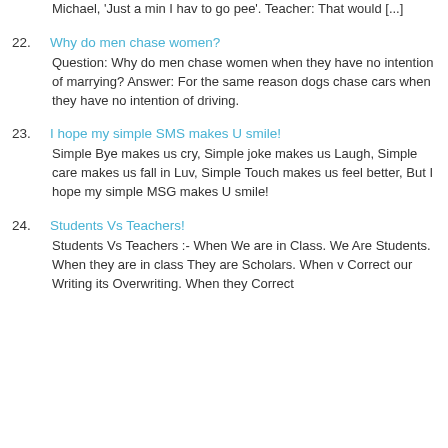Michael, 'Just a min I hav to go pee'. Teacher: That would [...]
22. Why do men chase women?
Question: Why do men chase women when they have no intention of marrying? Answer: For the same reason dogs chase cars when they have no intention of driving.
23. I hope my simple SMS makes U smile!
Simple Bye makes us cry, Simple joke makes us Laugh, Simple care makes us fall in Luv, Simple Touch makes us feel better, But I hope my simple MSG makes U smile!
24. Students Vs Teachers!
Students Vs Teachers :- When We are in Class. We Are Students. When they are in class They are Scholars. When v Correct our Writing its Overwriting. When they Correct